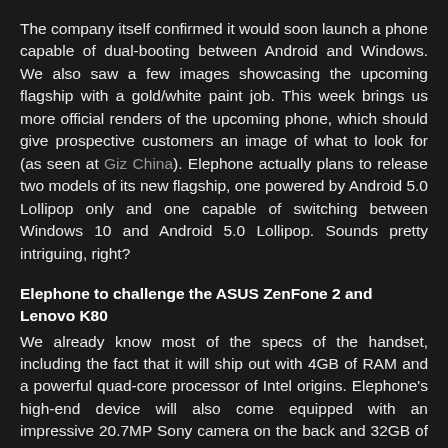The company itself confirmed it would soon launch a phone capable of dual-booting between Android and Windows. We also saw a few images showcasing the upcoming flagship with a gold/white paint job. This week brings us more official renders of the upcoming phone, which should give prospective customers an image of what to look for (as seen at Giz China). Elephone actually plans to release two models of its new flagship, one powered by Android 5.0 Lollipop only and one capable of switching between Windows 10 and Android 5.0 Lollipop. Sounds pretty intriguing, right?
Elephone to challenge the ASUS ZenFone 2 and Lenovo K80
We already know most of the specs of the handset, including the fact that it will ship out with 4GB of RAM and a powerful quad-core processor of Intel origins. Elephone's high-end device will also come equipped with an impressive 20.7MP Sony camera on the back and 32GB of internal storage. In the display department, the upcoming model will feature a 5.5-inch display with 2560 x 1440 pixel resolution that will be